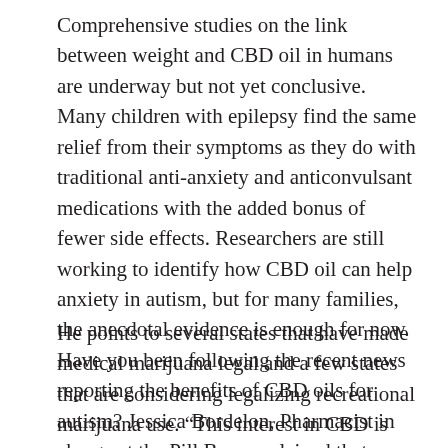Comprehensive studies on the link between weight and CBD oil in humans are underway but not yet conclusive. Many children with epilepsy find the same relief from their symptoms as they do with traditional anti-anxiety and anticonvulsant medications with the added bonus of fewer side effects. Researchers are still working to identify how CBD oil can help anxiety in autism, but for many families, the anecdotal evidence is enough for now. Have you been following the recent news reporting the benefits of CBD oils for autism? Jessica Bordelon, Pharmacist in charge at the Pill Box, explained that while CBD and medical marijuana are different products.
He points to several states that have made medical marijuana legal and a few states that are considering legalizing recreational marijuana use. “This interest in CBD is coming out more broadly in these perceptions of [...]